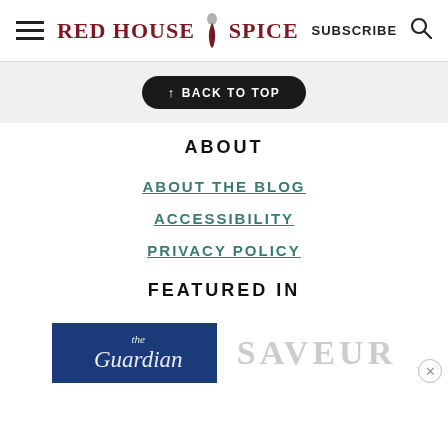RED HOUSE SPICE | SUBSCRIBE
↑ BACK TO TOP
ABOUT
ABOUT THE BLOG
ACCESSIBILITY
PRIVACY POLICY
FEATURED IN
[Figure (logo): The Guardian logo (white text on dark blue background) and SAVEUR logo in grey]